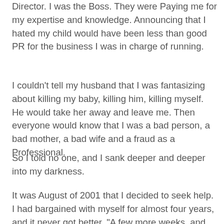Director. I was the Boss. They were Paying me for my expertise and knowledge. Announcing that I hated my child would have been less than good PR for the business I was in charge of running.
I couldn't tell my husband that I was fantasizing about killing my baby, killing him, killing myself. He would take her away and leave me. Then everyone would know that I was a bad person, a bad mother, a bad wife and a fraud as a Professional.
So I told no one, and I sank deeper and deeper into my darkness.
It was August of 2001 that I decided to seek help. I had bargained with myself for almost four years, and it never got better. "A few more weeks, and then if I don't feel better...", I would think. It didn't. I found myself screaming uncontrollably